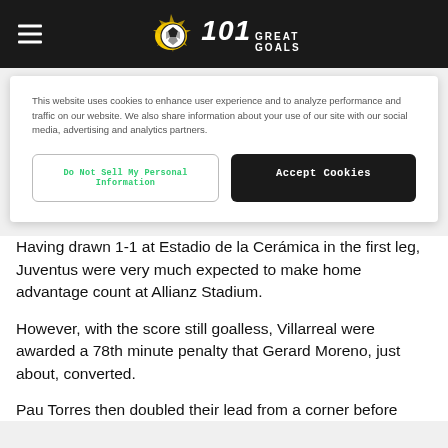101 Great Goals
This website uses cookies to enhance user experience and to analyze performance and traffic on our website. We also share information about your use of our site with our social media, advertising and analytics partners.
Do Not Sell My Personal Information | Accept Cookies
Having drawn 1-1 at Estadio de la Cerámica in the first leg, Juventus were very much expected to make home advantage count at Allianz Stadium.
However, with the score still goalless, Villarreal were awarded a 78th minute penalty that Gerard Moreno, just about, converted.
Pau Torres then doubled their lead from a corner before